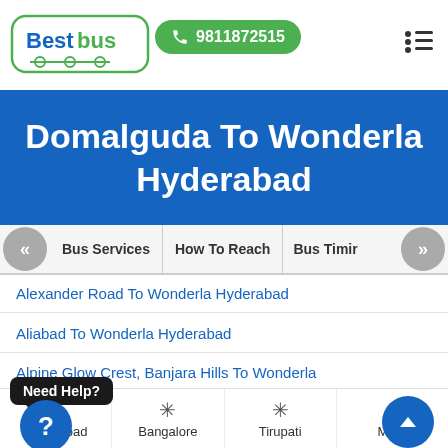[Figure (logo): BestBus logo with bus icon and phone number button 9811872515]
Domalguda To Wonderla Hyderabad
Bus Services | How To Reach | Bus Timir
Alexander Road To Wonderla Hyderabad
Aliabad To Wonderla Hyderabad
Alpine Glow Crest, Banjara Hills To Wonderla Hyderabad
[partially hidden] To Wonderla Hyderabad
[partial] er Nagar To Wonderla Hyderabad
Amberpet To Wonderla Hyderabad
Need Help?
Hyderabad | Bangalore | Tirupati | More